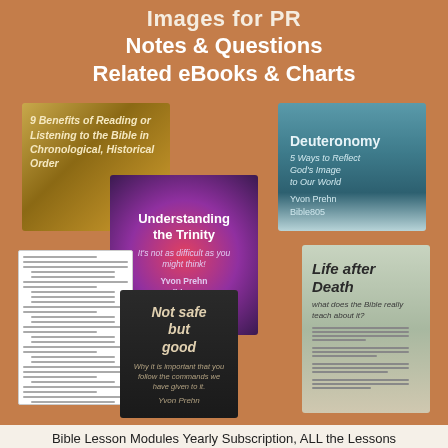Images for PR
Notes & Questions
Related eBooks & Charts
[Figure (illustration): Collage of Bible study ebooks and lesson documents on brown background. Includes: '9 Benefits of Reading or Listening to the Bible in Chronological, Historical Order', 'Deuteronomy 5 Ways to Reflect God's Image to Our World by Yvon Prehn Bible805', 'Understanding the Trinity - It's not as difficult as you might think! by Yvon Prehn Bible805', a document with lines of text, 'Not safe but good by Yvon Prehn', 'Life after Death - what does the Bible really teach about it?' with a worksheet]
Bible Lesson Modules Yearly Subscription, ALL the Lessons